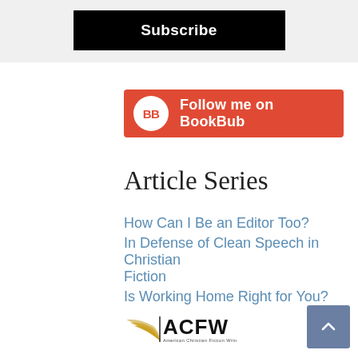[Figure (other): Subscribe button — black rectangular button with white bold text 'Subscribe' on a light gray background]
[Figure (other): BookBub follow button — red rounded rectangle with BB logo circle and white text 'Follow me on BookBub']
Article Series
How Can I Be an Editor Too?
In Defense of Clean Speech in Christian Fiction
Is Working Home Right for You?
[Figure (logo): ACFW (American Christian Fiction Writers) logo with open book graphic and text]
[Figure (other): Back to top button — blue-gray square with upward chevron arrow]